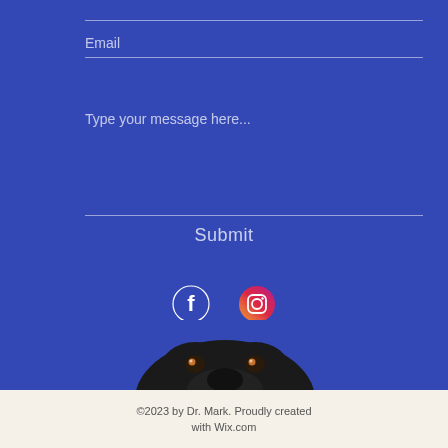Email
Type your message here...
Submit
[Figure (illustration): Facebook and Instagram social media icons on blue background]
[Figure (photo): Close-up of a black dog's face looking up at the camera, from above]
©2023 by Dr. Mark. Proudly created with Wix.com